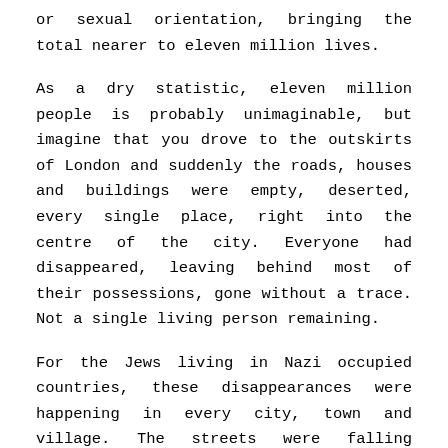or sexual orientation, bringing the total nearer to eleven million lives.
As a dry statistic, eleven million people is probably unimaginable, but imagine that you drove to the outskirts of London and suddenly the roads, houses and buildings were empty, deserted, every single place, right into the centre of the city. Everyone had disappeared, leaving behind most of their possessions, gone without a trace. Not a single living person remaining.
For the Jews living in Nazi occupied countries, these disappearances were happening in every city, town and village. The streets were falling silent, no one rushing about their daily business, no children playing in streets or shouting and laughing in parks and playgrounds. For among those six million almost a quarter of them were